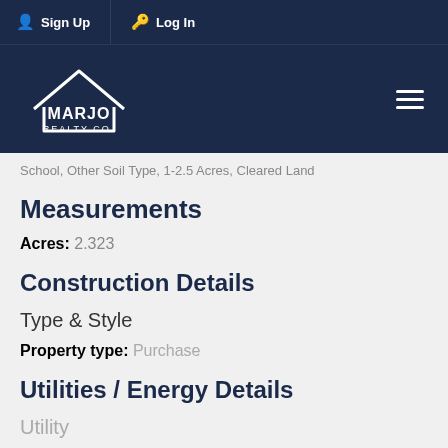Sign Up  Log In
[Figure (logo): Marjo Realty Co. logo with house outline on dark navy background]
School, Other Soil Type, 1-2.5 Acres, Cleared Land
Measurements
Acres:  2.323
Construction Details
Type & Style
Property type:  Purchase
Utilities / Energy Details
Utility